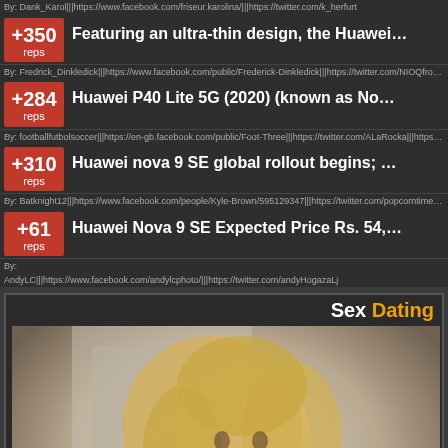By: Dank_Karol|||https://www.facebook.com/friseur.karolina/|||https://twitter.com/k_herfurt
+350 reps — Featuring an ultra-thin design, the Huawei…
By: Fredrick_Dinkledick|||https://www.facebook.com/public/Frederick-Dinkledick|||https://twitter.com/NIOQfromNAWLINS|||https://www.youtube.com/watch
+284 reps — Huawei P40 Lite 5G (2020) (known as No…
By: footballfutbolsoccer|||https://en-gb.facebook.com/public/Foot-Three|||https://twitter.com/ALaRocka|||https://www.youtube.com/watch?
+310 reps — Huawei nova 9 SE global rollout begins; …
By: Batknight12|||https://www.facebook.com/people/Kyle-Brown/595129347|||https://twitter.com/popcorntimety/status/568706638762233856|||ht
+61 reps — Huawei Nova 9 SE Expected Price Rs. 54,…
By: AndyLC|||https://www.facebook.com/andylcphoto/|||https://twitter.com/andyHogazaLj
[Figure (photo): Advertisement banner with 'Sex Dating' header in white and yellow text on dark background, with a photo of a blonde woman below]